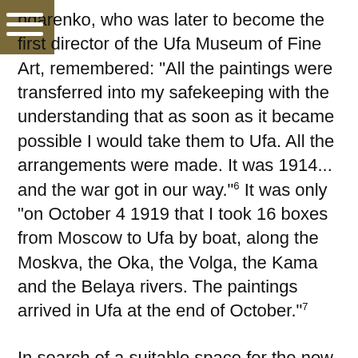ndarenko, who was later to become the first director of the Ufa Museum of Fine Art, remembered: "All the paintings were transferred into my safekeeping with the understanding that as soon as it became possible I would take them to Ufa. All the arrangements were made. It was 1914... and the war got in our way."⁶ It was only "on October 4 1919 that I took 16 boxes from Moscow to Ufa by boat, along the Moskva, the Oka, the Volga, the Kama and the Belaya rivers. The paintings arrived in Ufa at the end of October."⁷
In search of a suitable space for the new museum Bondarenko literally turned the city upside down. He finally chose the house that had belonged to M. Laptev, a timber merchant; built in 1913, the Art No-uveau mansion was designed by A. Shcherbachev, a famous architect from Samara. The Laptev mansion was a gem, one of the